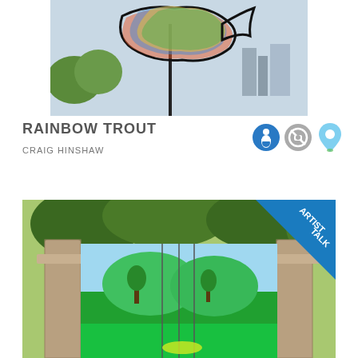[Figure (photo): Close-up photograph of a colorful rainbow trout sculpture on a metal stand with city skyline visible in background against a light blue sky]
RAINBOW TROUT
CRAIG HINSHAW
[Figure (infographic): Three icons: a blue circular accessibility/figure icon, a gray no-photography icon, and a light blue map pin/location icon]
[Figure (photo): Outdoor mural/artwork depicting a lush green landscape scene with trees and garden, displayed between wooden gate posts with trees and foliage overhead. Has an 'ARTIST TALK' diagonal ribbon badge in the upper right corner.]